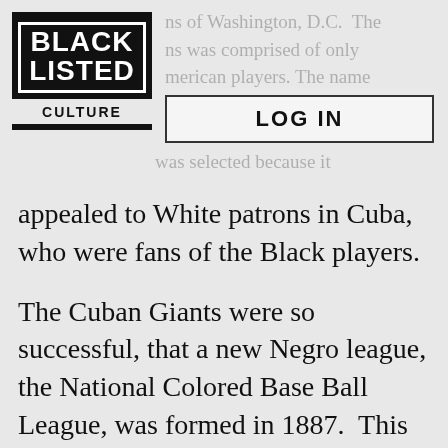[Figure (logo): Black Listed Culture logo — black box with 'BLACK LISTED' in white text with white border, and 'CULTURE' in black text on light background below]
ns of Washington, D.C.  The ns was comprised of only merican players. The name was selected because it
LOG IN
appealed to White patrons in Cuba, who were fans of the Black players.
The Cuban Giants were so successful, that a new Negro league, the National Colored Base Ball League, was formed in 1887.  This new league, led by Walter D. Brown, was a minor league that consisted of the Baltimore Lord Baltimores, Boston Resolutes, Louisville